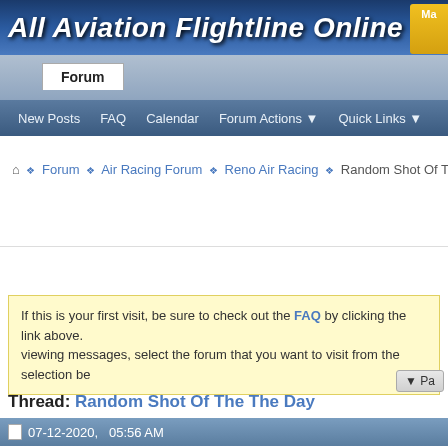All Aviation Flightline Online
Forum
New Posts  FAQ  Calendar  Forum Actions  Quick Links
Forum > Air Racing Forum > Reno Air Racing > Random Shot Of T
If this is your first visit, be sure to check out the FAQ by clicking the link above. viewing messages, select the forum that you want to visit from the selection be
Thread: Random Shot Of The The Day
07-12-2020,  05:56 AM
Desertdawg